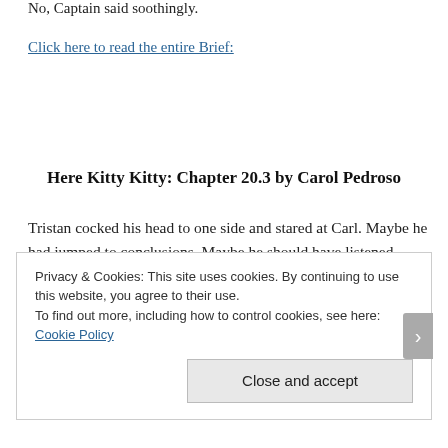No, Captain said soothingly.
Click here to read the entire Brief:
Here Kitty Kitty: Chapter 20.3 by Carol Pedroso
Tristan cocked his head to one side and stared at Carl. Maybe he had jumped to conclusions. Maybe he should have listened before he spoke. But, really? A vampire elder and a second level mage? What were the fates thinking? What did
Privacy & Cookies: This site uses cookies. By continuing to use this website, you agree to their use.
To find out more, including how to control cookies, see here: Cookie Policy